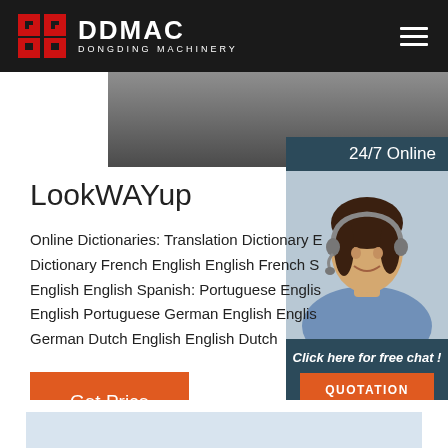DDMAC DONGDING MACHINERY
[Figure (photo): Industrial machinery photo strip, dark tones]
LookWAYup
Online Dictionaries: Translation Dictionary E Dictionary French English English French S English English Spanish: Portuguese Englis English Portuguese German English Englis German Dutch English English Dutch
[Figure (photo): Customer service representative with headset, 24/7 Online panel with Click here for free chat! and QUOTATION button]
Get Price